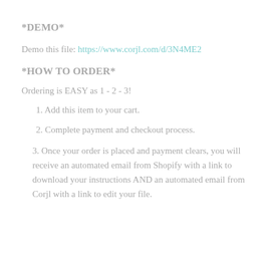*DEMO*
Demo this file: https://www.corjl.com/d/3N4ME2
*HOW TO ORDER*
Ordering is EASY as 1 - 2 - 3!
1. Add this item to your cart.
2. Complete payment and checkout process.
3. Once your order is placed and payment clears, you will receive an automated email from Shopify with a link to download your instructions AND an automated email from Corjl with a link to edit your file.